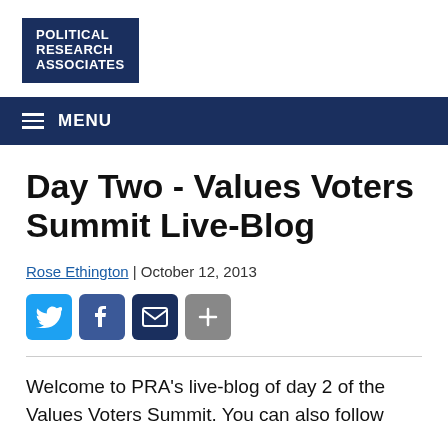[Figure (logo): Political Research Associates logo — white text on dark navy blue rectangle]
MENU
Day Two - Values Voters Summit Live-Blog
Rose Ethington | October 12, 2013
[Figure (other): Social sharing buttons: Twitter, Facebook, Email, More]
Welcome to PRA's live-blog of day 2 of the Values Voters Summit. You can also follow